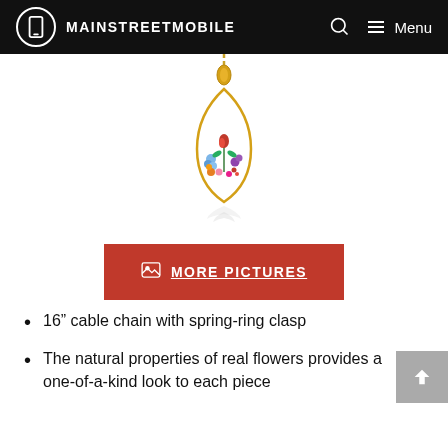MAINSTREETMOBILE
[Figure (photo): A teardrop-shaped pendant necklace with gold chain and bail, white resin filled with colorful pressed flowers including a red rose bud, blue forget-me-nots, orange, purple, and pink flowers. The pendant has a reflection below it on a white background.]
[Figure (screenshot): Red button with image icon and text MORE PICTURES]
16” cable chain with spring-ring clasp
The natural properties of real flowers provides a one-of-a-kind look to each piece